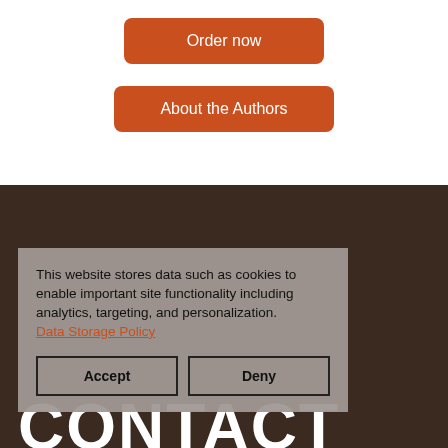Order now
About the Authors
CONTACT
This website stores data such as cookies to enable important site functionality including analytics, targeting, and personalization. Data Storage Policy
Accept
Deny